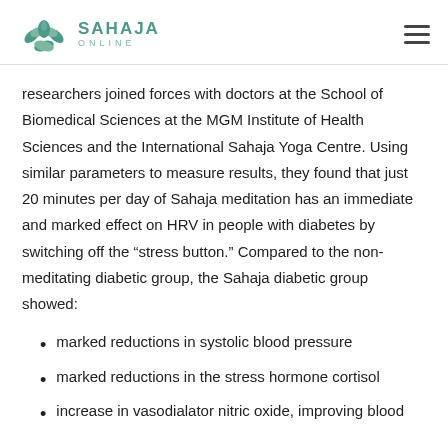SAHAJA ONLINE
researchers joined forces with doctors at the School of Biomedical Sciences at the MGM Institute of Health Sciences and the International Sahaja Yoga Centre. Using similar parameters to measure results, they found that just 20 minutes per day of Sahaja meditation has an immediate and marked effect on HRV in people with diabetes by switching off the “stress button.” Compared to the non-meditating diabetic group, the Sahaja diabetic group showed:
marked reductions in systolic blood pressure
marked reductions in the stress hormone cortisol
increase in vasodialator nitric oxide, improving blood